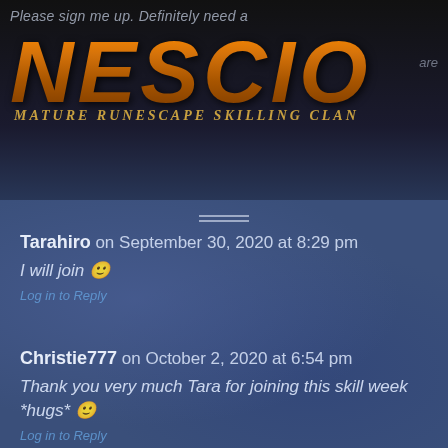Please sign me up. Definitely need a
[Figure (logo): NESCIO logo in orange metallic bold italic font with subtitle 'MATURE RUNESCAPE SKILLING CLAN' below]
Tarahiro on September 30, 2020 at 8:29 pm
I will join 🙂
Log in to Reply
Christie777 on October 2, 2020 at 6:54 pm
Thank you very much Tara for joining this skill week *hugs* 🙂
Log in to Reply